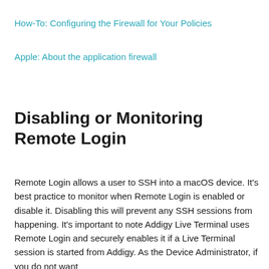How-To: Configuring the Firewall for Your Policies
Apple: About the application firewall
Disabling or Monitoring Remote Login
Remote Login allows a user to SSH into a macOS device. It's best practice to monitor when Remote Login is enabled or disable it. Disabling this will prevent any SSH sessions from happening. It's important to note Addigy Live Terminal uses Remote Login and securely enables it if a Live Terminal session is started from Addigy. As the Device Administrator, if you do not want